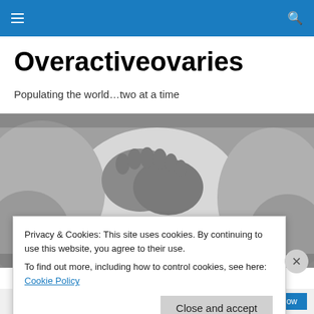Navigation header bar with hamburger menu and search icon
Overactiveovaries
Populating the world…two at a time
[Figure (photo): Black and white close-up photo of babies' feet and hands touching]
Privacy & Cookies: This site uses cookies. By continuing to use this website, you agree to their use.
To find out more, including how to control cookies, see here: Cookie Policy
Close and accept